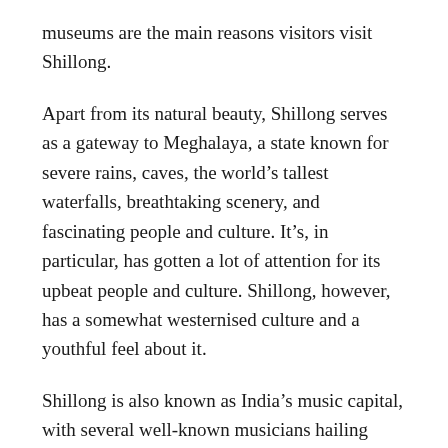museums are the main reasons visitors visit Shillong.
Apart from its natural beauty, Shillong serves as a gateway to Meghalaya, a state known for severe rains, caves, the world's tallest waterfalls, breathtaking scenery, and fascinating people and culture. It's, in particular, has gotten a lot of attention for its upbeat people and culture. Shillong, however, has a somewhat westernised culture and a youthful feel about it.
Shillong is also known as India's music capital, with several well-known musicians hailing from the city. Throughout the year, many music events take place, making it a highly active site.